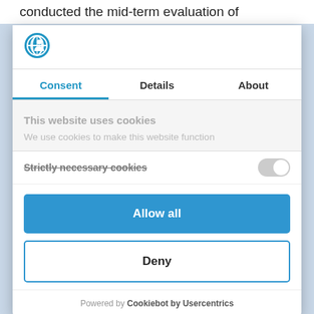conducted the mid-term evaluation of
[Figure (logo): Blue and white globe/person logo icon (Cookiebot)]
Consent | Details | About
This website uses cookies
We use cookies to make this website function
Strictly necessary cookies
Allow all
Deny
Powered by Cookiebot by Usercentrics